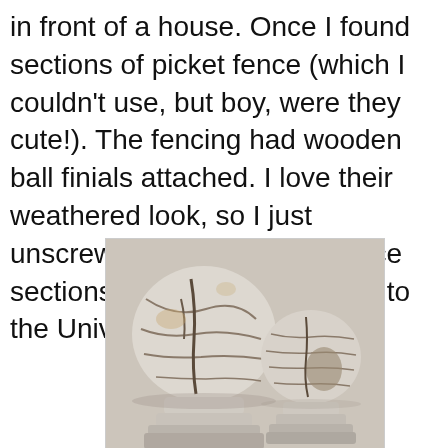in front of a house. Once I found sections of picket fence (which I couldn't use, but boy, were they cute!). The fencing had wooden ball finials attached. I love their weathered look, so I just unscrewed them from the fence sections and said a thank you to the Universe:
[Figure (photo): Two weathered wooden ball finials from a picket fence, with cracked and peeling white paint, placed side by side. The left finial is larger than the right one. Both sit on circular bases and show aged, distressed wood texture.]